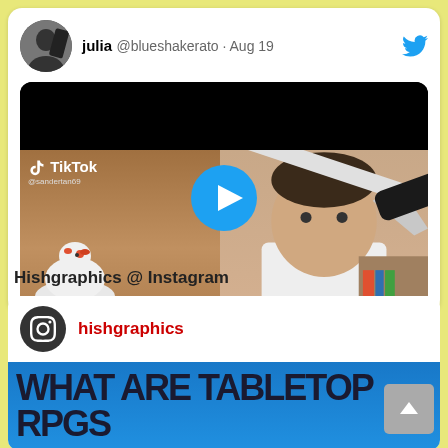[Figure (screenshot): Twitter/X post by julia @blueshakerato dated Aug 19, showing a TikTok video thumbnail with a man holding a knife near his head and a chicken on the left side, with a play button overlay]
Hishgraphics @ Instagram
[Figure (screenshot): Instagram embed showing hishgraphics account with a preview image of a blue-background video titled 'WHAT ARE TABLETOP RPGs']